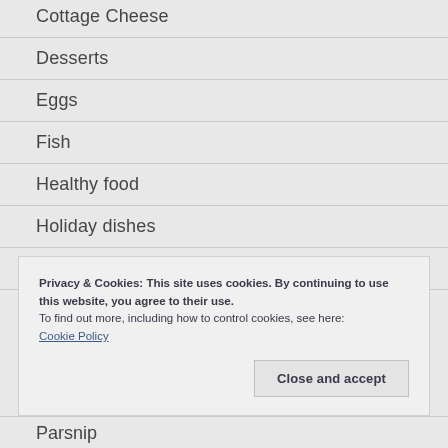Cottage Cheese
Desserts
Eggs
Fish
Healthy food
Holiday dishes
Meat
Privacy & Cookies: This site uses cookies. By continuing to use this website, you agree to their use.
To find out more, including how to control cookies, see here:
Cookie Policy
Parsnip